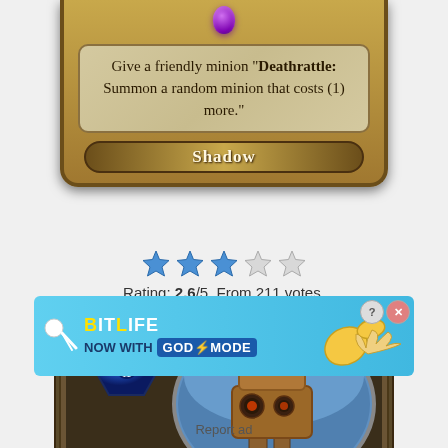[Figure (illustration): Hearthstone card top portion showing golden card frame with purple gem, card text area with 'Give a friendly minion Deathrattle: Summon a random minion that costs (1) more.' and Shadow spell type banner]
Rating: 2.6/5. From 211 votes.
[Figure (illustration): Hearthstone card showing a cost-6 mana gem and a wooden golem minion artwork inside an oval frame on a dark card background]
[Figure (illustration): BitLife advertisement banner with 'NOW WITH GOD MODE' text, lightning bolt, hand pointer, and close/info buttons]
Report ad